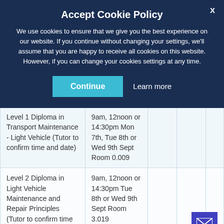Accept Cookie Policy
We use cookies to ensure that we give you the best experience on our website. If you continue without changing your settings, we'll assume that you are happy to receive all cookies on this website. However, if you can change your cookies settings at any time.
|  |  |  |  |  |
| --- | --- | --- | --- | --- |
| Level 1 Diploma in Transport Maintenance - Light Vehicle (Tutor to confirm time and date) | 9am, 12noon or 14:30pm Mon 7th, Tue 8th or Wed 9th Sept Room 0.009 |  |  |  |
| Level 2 Diploma in Light Vehicle Maintenance and Repair Principles (Tutor to confirm time and date) | 9am, 12noon or 14:30pm Tue 8th or Wed 9th Sept Room 3.019 |  |  |  |